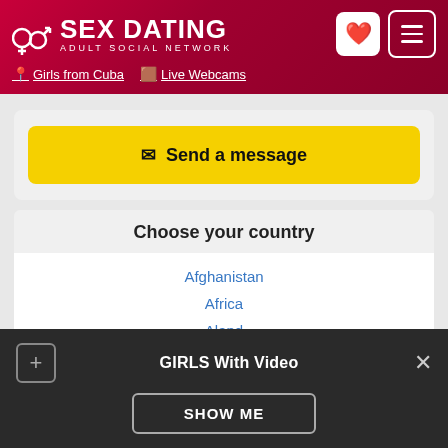SEX DATING ADULT SOCIAL NETWORK | Girls from Cuba | Live Webcams
✉ Send a message
Choose your country
Afghanistan
Africa
Aland
Albania
Algeria
Argentina
GIRLS With Video
SHOW ME